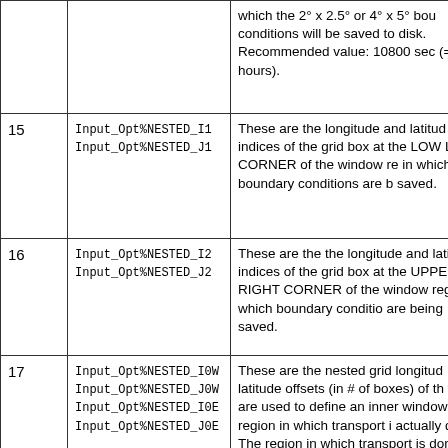| # | Parameter | Description |
| --- | --- | --- |
|  |  | which the 2° x 2.5° or 4° x 5° bou conditions will be saved to disk. Recommended value: 10800 sec (= hours). |
| 15 | Input_Opt%NESTED_I1
Input_Opt%NESTED_J1 | These are the longitude and latitu indices of the grid box at the LOW LEFT CORNER of the window re in which boundary conditions are b saved. |
| 16 | Input_Opt%NESTED_I2
Input_Opt%NESTED_J2 | These are the the longitude and lat indices of the grid box at the UPPE RIGHT CORNER of the window region in which boundary conditio are being saved. |
| 17 | Input_Opt%NESTED_I0W
Input_Opt%NESTED_J0W
Input_Opt%NESTED_I0E
Input_Opt%NESTED_J0E | These are the nested grid longitud latitude offsets (in # of boxes) of t which are used to define an inner window region in which transport actually done. The region in which transport is done in the window is smaller than the actual size of the nested grid met fields in order to account for the boundary conditior |